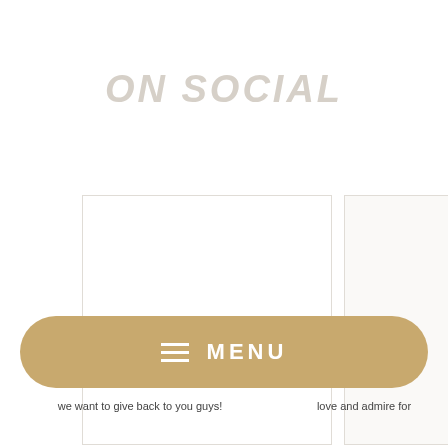ON SOCIAL
[Figure (screenshot): White rectangular card/image placeholder with light border, left card in a social media feed layout]
[Figure (screenshot): White rectangular card/image placeholder with light border, right card partially visible in a social media feed layout]
[Figure (other): Gold/tan rounded pill-shaped menu bar with three horizontal lines icon and MENU text in white]
we want to give back to you guys!
love and admire for